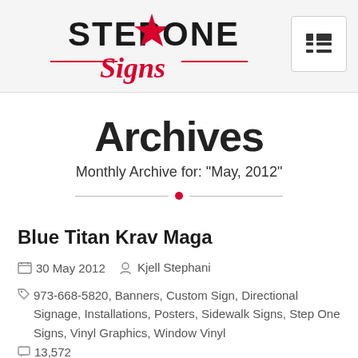[Figure (logo): Step One Signs logo with red star and cursive 'Signs' text in red, plus a navigation menu hamburger icon button]
Archives
Monthly Archive for: "May, 2012"
Blue Titan Krav Maga
30 May 2012  Kjell Stephani
973-668-5820, Banners, Custom Sign, Directional Signage, Installations, Posters, Sidewalk Signs, Step One Signs, Vinyl Graphics, Window Vinyl
13,572